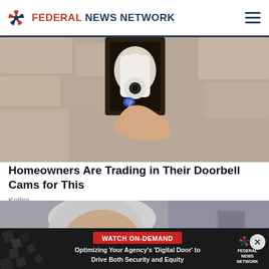FEDERAL NEWS NETWORK
[Figure (photo): Close-up photograph of a smart doorbell camera mounted near a front door light fixture, with a hand pressing the button.]
Homeowners Are Trading in Their Doorbell Cams for This
Kellini
[Figure (photo): Photograph of an elderly gray-haired man's face, partially visible.]
[Figure (screenshot): Ad banner: WATCH ON-DEMAND — Optimizing Your Agency's 'Digital Door' to Drive Both Security and Equity — Federal News Network logo]